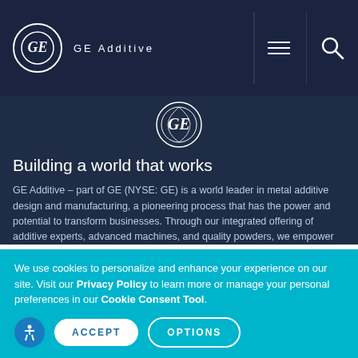GE Additive
[Figure (logo): GE circular logo emblem in dark navy background area]
Building a world that works
GE Additive – part of GE (NYSE: GE) is a world leader in metal additive design and manufacturing, a pioneering process that has the power and potential to transform businesses. Through our integrated offering of additive experts, advanced machines, and quality powders, we empower our customers to build innovative new products. Products that solve manufacturing challenges, improve business outcomes, and help change the world for the better. GE Additive includes additive machine brands Concept…
We use cookies to personalize and enhance your experience on our site. Visit our Privacy Policy to learn more or manage your personal preferences in our Cookie Consent Tool.
ACCEPT
OPTIONS